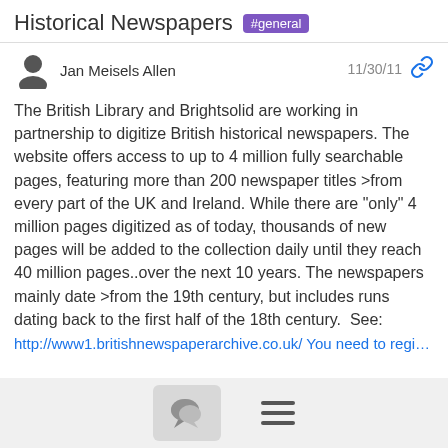Historical Newspapers #general
Jan Meisels Allen
11/30/11
The British Library and Brightsolid are working in partnership to digitize British historical newspapers. The website offers access to up to 4 million fully searchable pages, featuring more than 200 newspaper titles >from every part of the UK and Ireland. While there are "only" 4 million pages digitized as of today, thousands of new pages will be added to the collection daily until they reach 40 million pages..over the next 10 years. The newspapers mainly date >from the 19th century, but includes runs dating back to the first half of the 18th century.  See:
http://www1.britishnewspaperarchive.co.uk/ You need to register